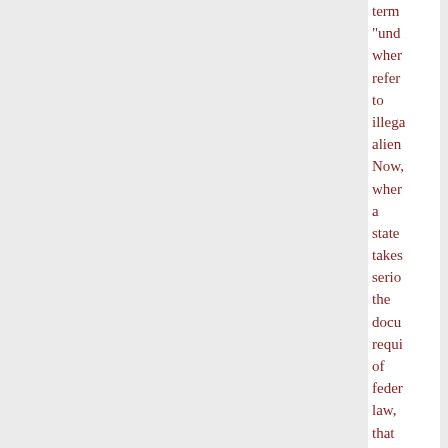term "und wher refer to illega alien Now, wher a state takes serio the docu requi of feder law, that crow beco apop